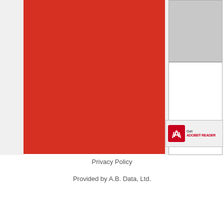[Figure (illustration): Large red rectangular panel on the left portion of the page, representing a PDF cover or document preview area. Above and to the right is a gray rectangle (thumbnail/preview box). Below the gray area is a white panel. An Adobe Reader banner with the Adobe icon appears to the lower right of the red panel.]
Privacy Policy
Provided by A.B. Data, Ltd.